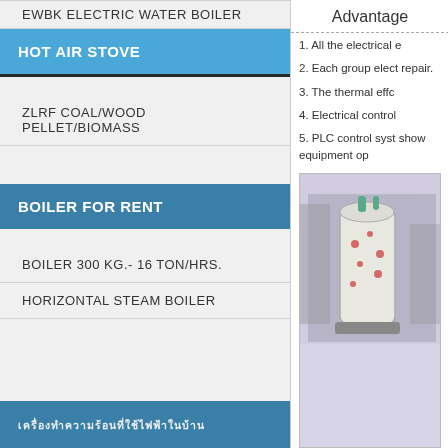EWBK ELECTRIC WATER BOILER
HOT AIR STOVE
ZLRF COAL/WOOD PELLET/BIOMASS
BOILER FOR RENT
BOILER 300 KG.- 16 TON/HRS.
HORIZONTAL STEAM BOILER
เครื่องทำความร้อน
Advantage
1. All the electrical e
2. Each group elect repair.
3. The thermal effc
4. Electrical control
5. PLC control syst show equipment op
[Figure (photo): Photo of a vertical steam boiler in an industrial setting]